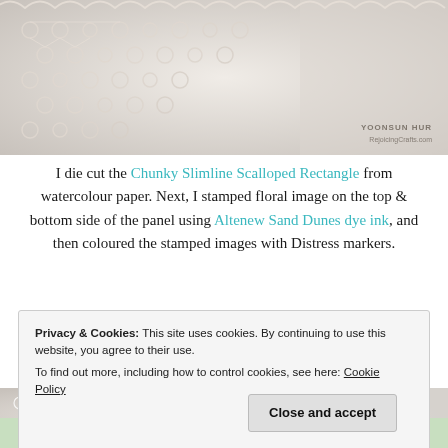[Figure (photo): Close-up photo of white crocheted lace doily on light background, with watermark text 'YOONSUN HUR' and 'RejoicingCrafts.com' in lower right corner]
I die cut the Chunky Slimline Scalloped Rectangle from watercolour paper. Next, I stamped floral image on the top & bottom side of the panel using Altenew Sand Dunes dye ink, and then coloured the stamped images with Distress markers.
[Figure (photo): Close-up photo of white crocheted lace texture on light background]
Privacy & Cookies: This site uses cookies. By continuing to use this website, you agree to their use.
To find out more, including how to control cookies, see here: Cookie Policy
[Close and accept button]
[Figure (photo): Partial view of colorful floral crafting project at the bottom of the page]